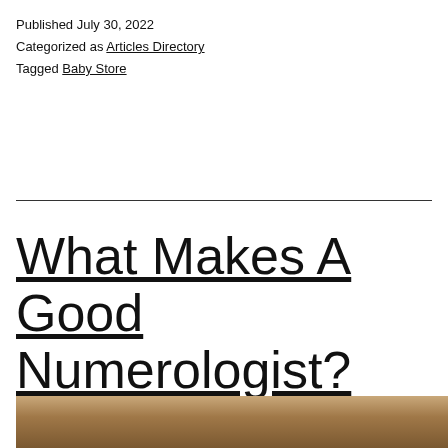Published July 30, 2022
Categorized as Articles Directory
Tagged Baby Store
What Makes A Good Numerologist?
[Figure (photo): Partial view of a person, bottom portion of page]